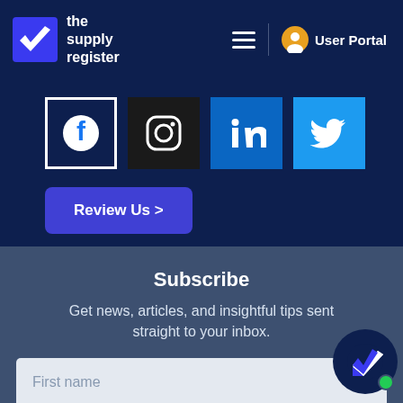the supply register — User Portal
[Figure (logo): The Supply Register logo with checkmark icon and site name]
[Figure (infographic): Social media icons: Facebook, Instagram, LinkedIn, Twitter in square bordered boxes]
Review Us >
Subscribe
Get news, articles, and insightful tips sent straight to your inbox.
First name
Last name
[Figure (logo): The Supply Register chat bubble icon with green online dot in bottom right corner]